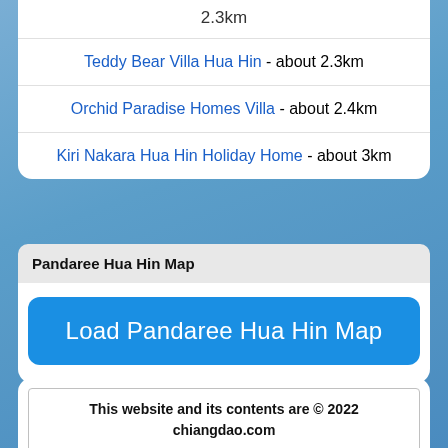2.3km
Teddy Bear Villa Hua Hin - about 2.3km
Orchid Paradise Homes Villa - about 2.4km
Kiri Nakara Hua Hin Holiday Home - about 3km
Pandaree Hua Hin Map
Load Pandaree Hua Hin Map
This website and its contents are © 2022 chiangdao.com